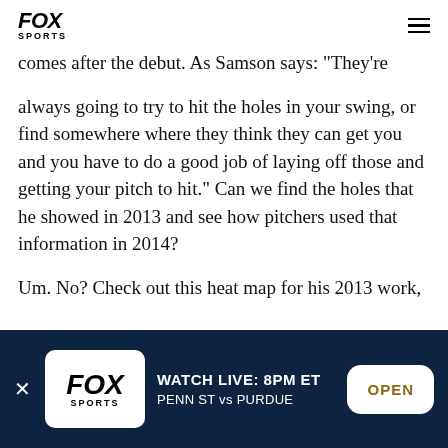FOX SPORTS
comes after the debut. As Samson says: "They're always going to try to hit the holes in your swing, or find somewhere where they think they can get you and you have to do a good job of laying off those and getting your pitch to hit." Can we find the holes that he showed in 2013 and see how pitchers used that information in 2014?
Um. No? Check out this heat map for his 2013 work,
[Figure (screenshot): Fox Sports app banner ad at bottom: WATCH LIVE: 8PM ET PENN ST vs PURDUE with OPEN button]